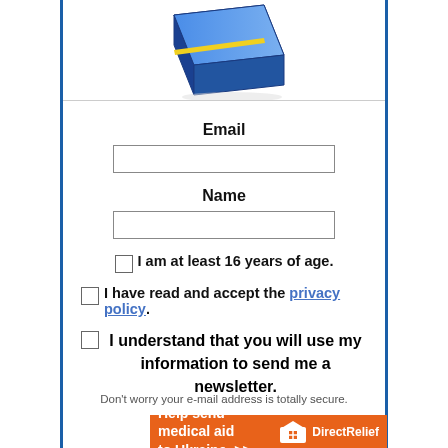[Figure (illustration): Partial view of a product box with blue and yellow design at top]
Email
Name
I am at least 16 years of age.
I have read and accept the privacy policy.
I understand that you will use my information to send me a newsletter.
Get it Now !
Don't worry your e-mail address is totally secure.
[Figure (illustration): Orange DirectRelief banner: Help send medical aid to Ukraine >>]